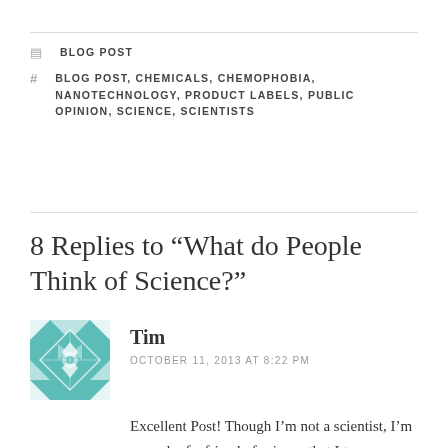BLOG POST
BLOG POST, CHEMICALS, CHEMOPHOBIA, NANOTECHNOLOGY, PRODUCT LABELS, PUBLIC OPINION, SCIENCE, SCIENTISTS
8 Replies to “What do People Think of Science?”
[Figure (illustration): Teal decorative geometric avatar/quilt pattern for commenter Tim]
Tim
OCTOBER 11, 2013 AT 8:22 PM
Excellent Post! Though I’m not a scientist, I’m enough of a friend of science that I too am bothered by many popular portrayals of science, especially utterances like “chemicals are bad,”